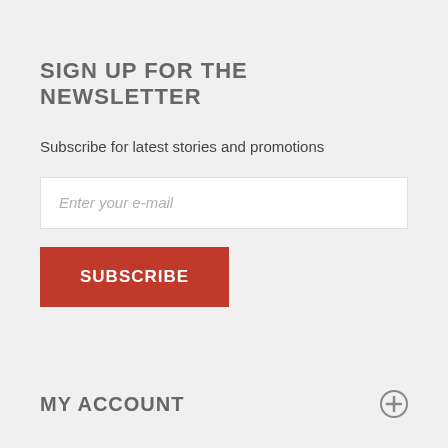SIGN UP FOR THE NEWSLETTER
Subscribe for latest stories and promotions
Enter your e-mail
SUBSCRIBE
MY ACCOUNT